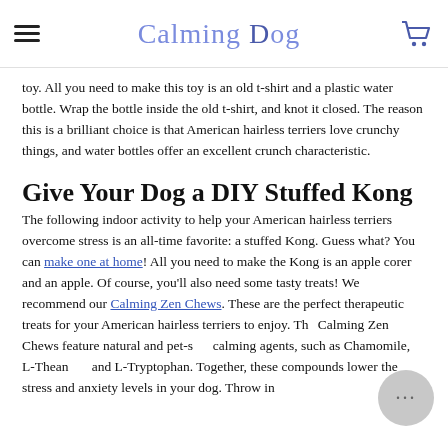Calming Dog
toy. All you need to make this toy is an old t-shirt and a plastic water bottle. Wrap the bottle inside the old t-shirt, and knot it closed. The reason this is a brilliant choice is that American hairless terriers love crunchy things, and water bottles offer an excellent crunch characteristic.
Give Your Dog a DIY Stuffed Kong
The following indoor activity to help your American hairless terriers overcome stress is an all-time favorite: a stuffed Kong. Guess what? You can make one at home! All you need to make the Kong is an apple corer and an apple. Of course, you'll also need some tasty treats! We recommend our Calming Zen Chews. These are the perfect therapeutic treats for your American hairless terriers to enjoy. The Calming Zen Chews feature natural and pet-safe calming agents, such as Chamomile, L-Theanine, and L-Tryptophan. Together, these compounds lower the stress and anxiety levels in your dog. Throw in